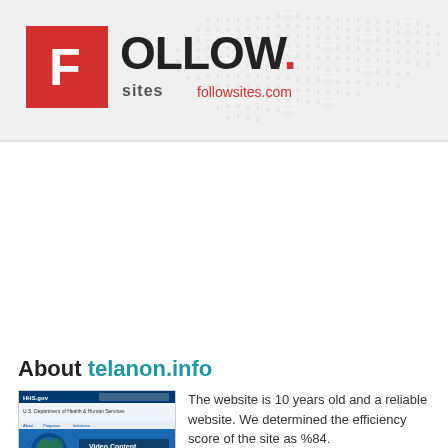FOLLOW. sites followsites.com
About telanon.info
[Figure (screenshot): Screenshot of HHS.gov website showing header and video content thumbnail]
The website is 10 years old and a reliable website. We determined the efficiency score of the site as %84.